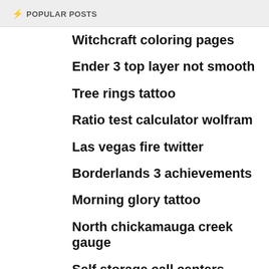⚡ POPULAR POSTS
Witchcraft coloring pages
Ender 3 top layer not smooth
Tree rings tattoo
Ratio test calculator wolfram
Las vegas fire twitter
Borderlands 3 achievements
Morning glory tattoo
North chickamauga creek gauge
Self storage call centers
Affinity dispensary happy hour
New jersey bus system
College athlete football